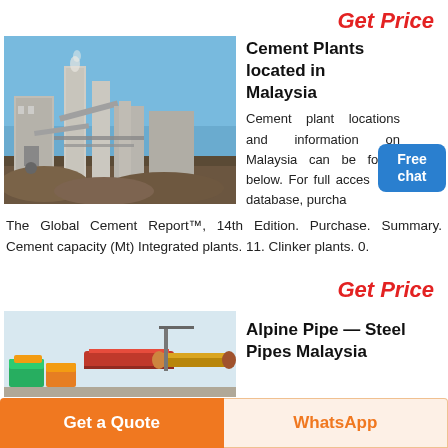Get Price
[Figure (photo): Cement plant industrial facility with silos, pipes, and machinery under blue sky]
Cement Plants located in Malaysia
Cement plant locations and information on Malaysia can be found below. For full access the database, purchase
The Global Cement Report™, 14th Edition. Purchase. Summary. Cement capacity (Mt) Integrated plants. 11. Clinker plants. 0.
Get Price
[Figure (photo): Alpine Pipe steel pipes Malaysia product image]
Alpine Pipe — Steel Pipes Malaysia